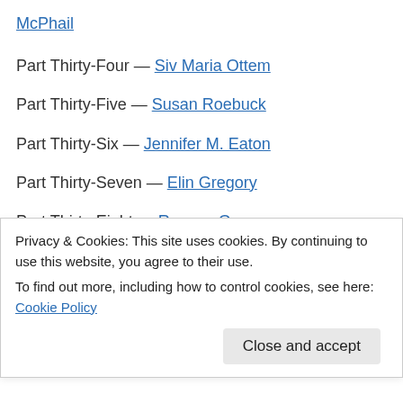McPhail
Part Thirty-Four — Siv Maria Ottem
Part Thirty-Five — Susan Roebuck
Part Thirty-Six — Jennifer M. Eaton
Part Thirty-Seven — Elin Gregory
Part Thirty-Eight — Ravena Guron
Part Thirty-Nine — Nicky Wells
Privacy & Cookies: This site uses cookies. By continuing to use this website, you agree to their use.
To find out more, including how to control cookies, see here: Cookie Policy
Close and accept